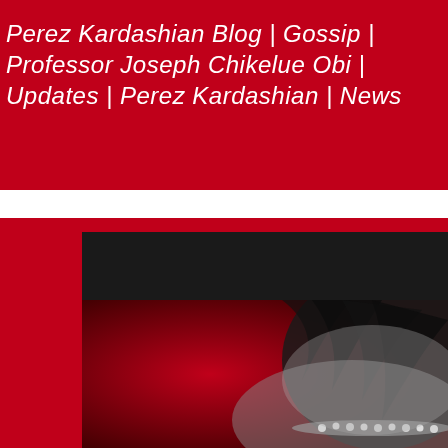Perez Kardashian Blog | Gossip | Professor Joseph Chikelue Obi | Updates | Perez Kardashian | News
[Figure (screenshot): Screenshot of a video or media card with a purple 'G' avatar icon and text 'Gossip - Move in the Right Direction (Offi...' overlaid on a dark background showing a partial black-and-white close-up of a person's face with dark hair and a jeweled accessory, set against a red gradient background.]